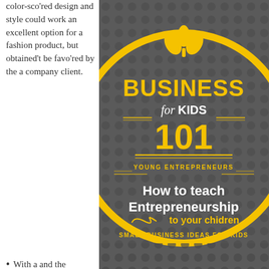color-sco'red design and style could work an excellent option for a fashion product, but obtained't be favo'red by the a company client.
[Figure (illustration): Book cover for 'Business for Kids 101 - How to teach Entrepreneurship to your chidren - Small Business Ideas for Kids - Young Entrepreneurs'. Dark grey background with yellow circle logo, yellow typography, and dot pattern texture.]
With a and the photograph enables you